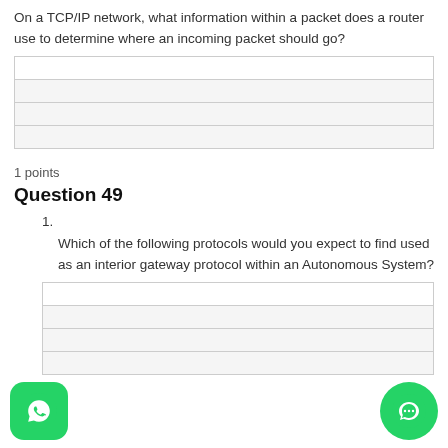On a TCP/IP network, what information within a packet does a router use to determine where an incoming packet should go?
|  |
|  |
|  |
|  |
1 points
Question 49
1.
Which of the following protocols would you expect to find used as an interior gateway protocol within an Autonomous System?
|  |
|  |
|  |
|  |